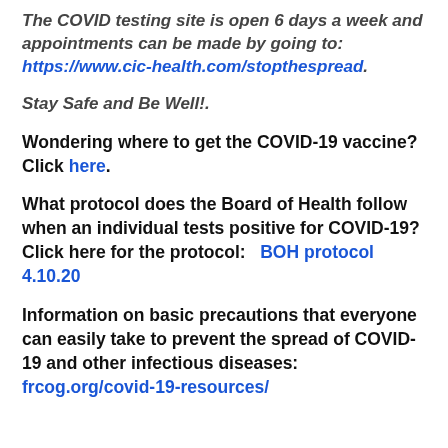The COVID testing site is open 6 days a week and appointments can be made by going to: https://www.cic-health.com/stopthespread.
Stay Safe and Be Well!.
Wondering where to get the COVID-19 vaccine?  Click here.
What protocol does the Board of Health follow when an individual tests positive for COVID-19? Click here for the protocol:   BOH protocol 4.10.20
Information on basic precautions that everyone can easily take to prevent the spread of COVID-19 and other infectious diseases: frcog.org/covid-19-resources/